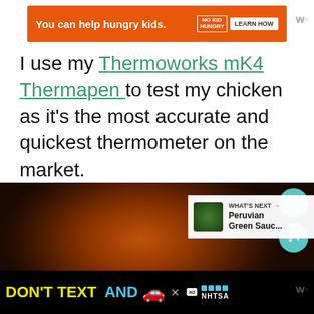[Figure (screenshot): Orange advertisement banner for No Kid Hungry charity with text 'You can help hungry kids.' and a 'LEARN HOW' button]
I use my Thermoworks mK4 Thermapen to test my chicken as it's the most accurate and quickest thermometer on the market.
[Figure (photo): A whole roasted chicken in a dark air fryer basket, golden-brown with crispy skin. UI overlays show a teal heart button, 15.6K count, share button, and a 'WHAT'S NEXT' teaser for 'Peruvian Green Sauc...']
[Figure (screenshot): Black bottom advertisement banner reading 'DON'T TEXT AND' with a red car emoji and NHTSA logo]